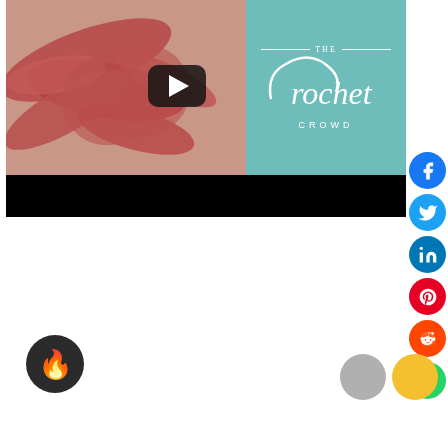[Figure (screenshot): Video thumbnail showing a crochet yarn knot on the left (red/coral yarn on skin-toned background) with a YouTube play button overlay, and The Crochet Crowd logo on the right teal panel. Below is a black letterbox bar. Social share icons (Facebook, Twitter, LinkedIn, Pinterest, Reddit, WhatsApp) appear on the right side. A dark circle fire emoji button is at the bottom left. Two partially visible user avatar circles appear at the bottom right.]